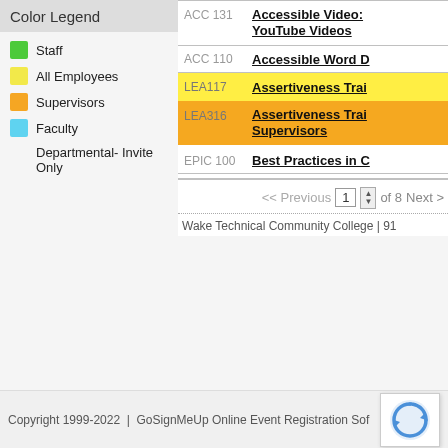Color Legend
Staff
All Employees
Supervisors
Faculty
Departmental- Invite Only
ACC 131  Accessible Video: YouTube Videos
ACC 110  Accessible Word D
LEA117  Assertiveness Trai
LEA316  Assertiveness Trai Supervisors
EPIC 100  Best Practices in C
<< Previous  1  of 8  Next >
Wake Technical Community College | 91
Copyright 1999-2022 | GoSignMeUp Online Event Registration Sof